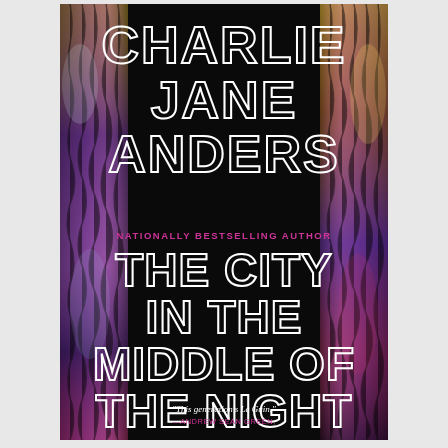[Figure (illustration): Book cover for 'The City in the Middle of the Night' by Charlie Jane Anders. Black background with colorful (purple, yellow, magenta) abstract textured side columns resembling alien or crystalline structures. Large white outlined text displays the author name and book title. A pink tagline reads 'NATIONALLY BESTSELLING AUTHOR'. A small quote at the bottom reads: 'This generation's Le Guin.' — Andrew Sean Green.]